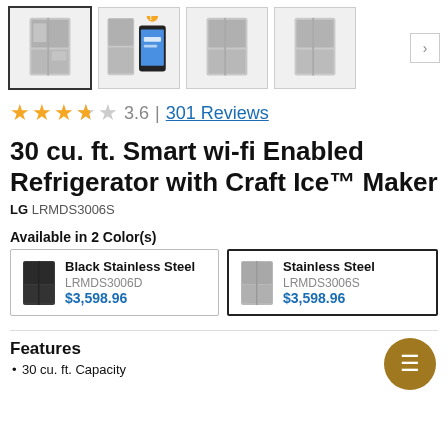[Figure (screenshot): Thumbnail image row showing 4 refrigerator product photos with a right navigation arrow]
3.6 | 301 Reviews
30 cu. ft. Smart wi-fi Enabled Refrigerator with Craft Ice™ Maker
LG LRMDS3006S
Available in 2 Color(s)
| Image | Color | Model | Price |
| --- | --- | --- | --- |
| [image] | Black Stainless Steel | LRMDS3006D | $3,598.96 |
| [image] | Stainless Steel | LRMDS3006S | $3,598.96 |
Features
30 cu. ft. Capacity